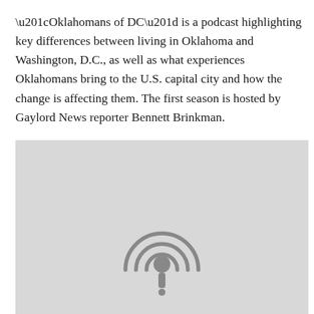“Oklahomans of DC” is a podcast highlighting key differences between living in Oklahoma and Washington, D.C., as well as what experiences Oklahomans bring to the U.S. capital city and how the change is affecting them. The first season is hosted by Gaylord News reporter Bennett Brinkman.
[Figure (other): A light gray rectangular placeholder image with a podcast microphone/signal icon centered near the bottom.]